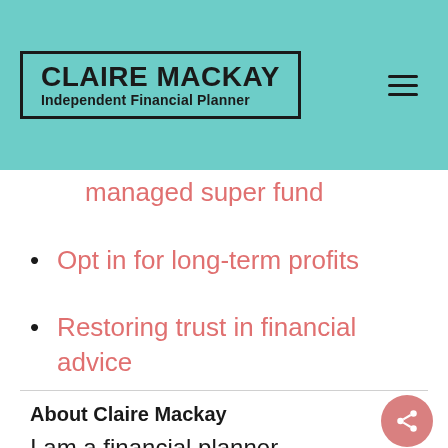CLAIRE MACKAY Independent Financial Planner
managed super fund
Opt in for long-term profits
Restoring trust in financial advice
About Claire Mackay
I am a financial planner,